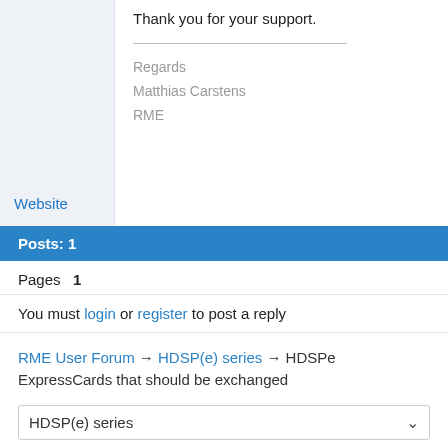Thank you for your support.
Regards
Matthias Carstens
RME
Website
Posts: 1
Pages  1
You must login or register to post a reply
RME User Forum → HDSP(e) series → HDSPe ExpressCards that should be exchanged
HDSP(e) series
Powered by PunBB, supported by Informer Technologies, Inc.